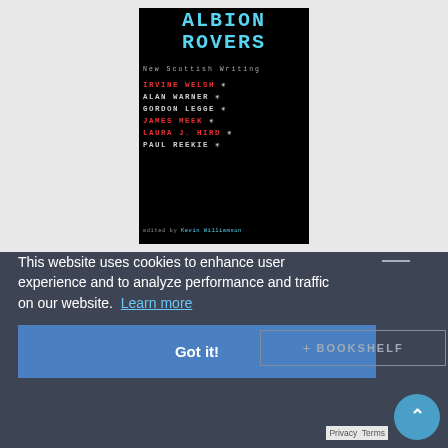[Figure (illustration): Book cover of 'Albion Rovers' — New Scottish Writing, featuring authors Irvine Welsh, Alan Warner, Gordon Legge, James Meek, Laura J. Hird, Paul Reekie, edited by Kevin Williamson. Black background with teal title text and red/white author names in monospace font with asterisks.]
This website uses cookies to enhance user experience and to analyze performance and traffic on our website. Learn more
Got it!